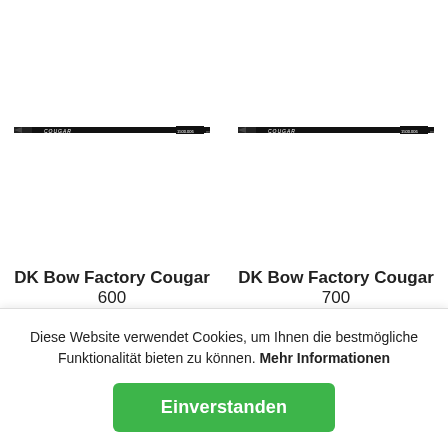[Figure (photo): Product image of DK Bow Factory Cougar arrow shaft, black with white text markings, shown horizontally]
[Figure (photo): Product image of DK Bow Factory Cougar arrow shaft, black with white text markings, shown horizontally]
DK Bow Factory Cougar
600
DK Bow Factory Cougar
700
Diese Website verwendet Cookies, um Ihnen die bestmögliche Funktionalität bieten zu können. Mehr Informationen
Einverstanden